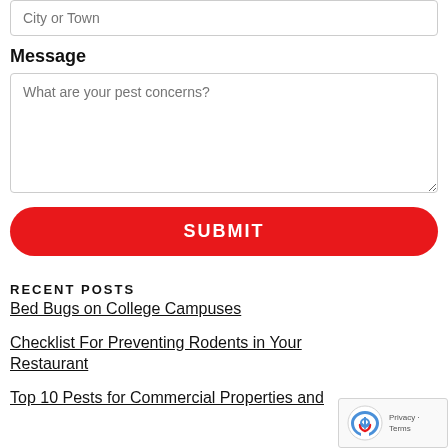City or Town
Message
What are your pest concerns?
SUBMIT
RECENT POSTS
Bed Bugs on College Campuses
Checklist For Preventing Rodents in Your Restaurant
Top 10 Pests for Commercial Properties and the Facility Management Industry